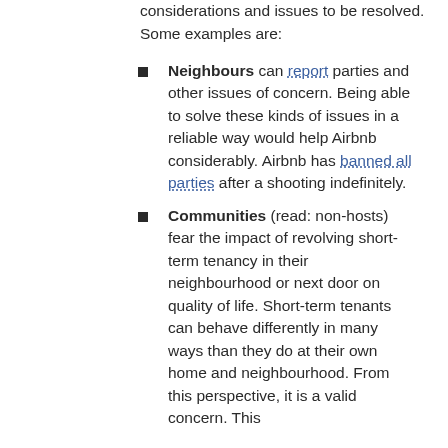considerations and issues to be resolved. Some examples are:
Neighbours can report parties and other issues of concern. Being able to solve these kinds of issues in a reliable way would help Airbnb considerably. Airbnb has banned all parties after a shooting indefinitely.
Communities (read: non-hosts) fear the impact of revolving short-term tenancy in their neighbourhood or next door on quality of life. Short-term tenants can behave differently in many ways than they do at their own home and neighbourhood. From this perspective, it is a valid concern. This